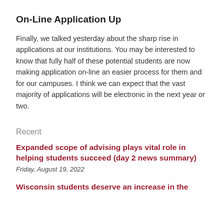On-Line Application Up
Finally, we talked yesterday about the sharp rise in applications at our institutions. You may be interested to know that fully half of these potential students are now making application on-line an easier process for them and for our campuses. I think we can expect that the vast majority of applications will be electronic in the next year or two.
Recent
Expanded scope of advising plays vital role in helping students succeed (day 2 news summary)
Friday, August 19, 2022
Wisconsin students deserve an increase in the